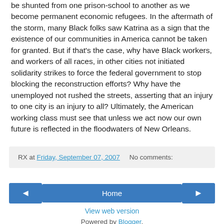be shunted from one prison-school to another as we become permanent economic refugees. In the aftermath of the storm, many Black folks saw Katrina as a sign that the existence of our communities in America cannot be taken for granted. But if that's the case, why have Black workers, and workers of all races, in other cities not initiated solidarity strikes to force the federal government to stop blocking the reconstruction efforts? Why have the unemployed not rushed the streets, asserting that an injury to one city is an injury to all? Ultimately, the American working class must see that unless we act now our own future is reflected in the floodwaters of New Orleans.
RX at Friday, September 07, 2007   No comments:
◄
Home
►
View web version
Powered by Blogger.